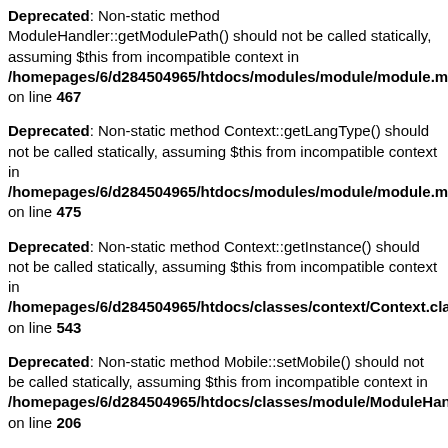Deprecated: Non-static method ModuleHandler::getModulePath() should not be called statically, assuming $this from incompatible context in /homepages/6/d284504965/htdocs/modules/module/module.mode on line 467
Deprecated: Non-static method Context::getLangType() should not be called statically, assuming $this from incompatible context in /homepages/6/d284504965/htdocs/modules/module/module.mode on line 475
Deprecated: Non-static method Context::getInstance() should not be called statically, assuming $this from incompatible context in /homepages/6/d284504965/htdocs/classes/context/Context.class.ph on line 543
Deprecated: Non-static method Mobile::setMobile() should not be called statically, assuming $this from incompatible context in /homepages/6/d284504965/htdocs/classes/module/ModuleHandle on line 206
Deprecated: Non-static method Mobile::getInstance() should not be called statically, assuming $this from incompatible context in /homepages/6/d284504965/htdocs/classes/mobile/Mobile.class.php